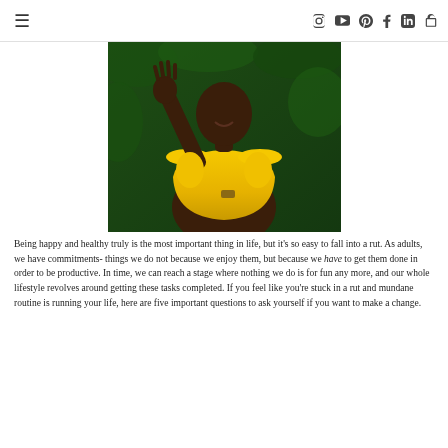≡  [Instagram] [YouTube] [Pinterest] [Facebook] [LinkedIn] [Bag]
[Figure (photo): A woman wearing a yellow off-shoulder dress waving her hand, standing in front of green foliage background.]
Being happy and healthy truly is the most important thing in life, but it's so easy to fall into a rut. As adults, we have commitments- things we do not because we enjoy them, but because we have to get them done in order to be productive. In time, we can reach a stage where nothing we do is for fun any more, and our whole lifestyle revolves around getting these tasks completed. If you feel like you're stuck in a rut and mundane routine is running your life, here are five important questions to ask yourself if you want to make a change.